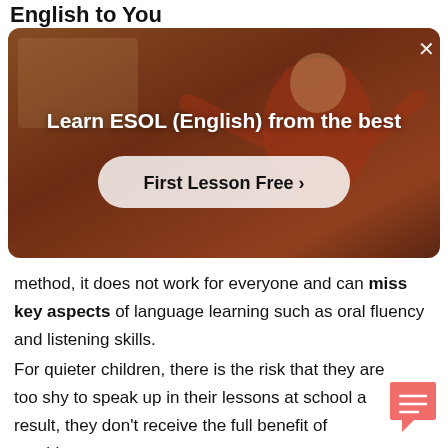English to You
[Figure (screenshot): Advertisement overlay showing a video thumbnail with a person in a red outfit. Title reads 'Learn ESOL (English) from the best' with a 'First Lesson Free >' button and an X close button.]
method, it does not work for everyone and can miss key aspects of language learning such as oral fluency and listening skills.
For quieter children, there is the risk that they are too shy to speak up in their lessons at school a result, they don't receive the full benefit of teaching.